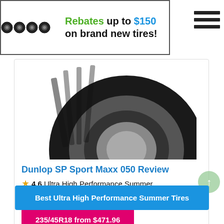[Figure (infographic): Banner advertisement showing four black tires on the left side and text reading 'Rebates up to $150 on brand new tires!' with a bordered rectangle layout]
[Figure (photo): Close-up photo of a Dunlop SP Sport Maxx 050 tire showing the tread and rim detail]
Dunlop SP Sport Maxx 050 Review
★4.6 Ultra High Performance Summer
Available tire sizes that fit Honda Clarity:
235/45R18 from $471.96
Best Ultra High Performance Summer Tires